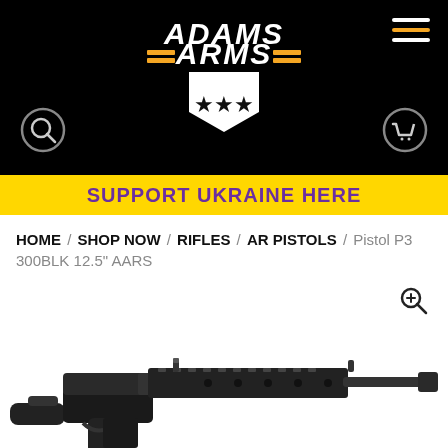[Figure (logo): Adams Arms logo on black header background with orange stripes, shield with stars, search and cart icons]
SUPPORT UKRAINE HERE
HOME / SHOP NOW / RIFLES / AR PISTOLS / Pistol P3 300BLK 12.5" AARS
[Figure (photo): Adams Arms AR pistol P3 300BLK 12.5 AARS, black firearm on white background, with search/zoom icon in upper right]